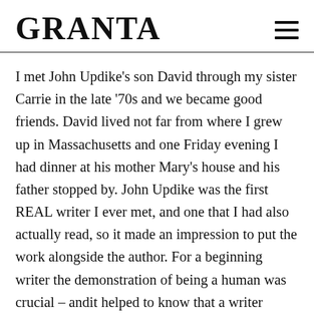GRANTA
I met John Updike's son David through my sister Carrie in the late '70s and we became good friends. David lived not far from where I grew up in Massachusetts and one Friday evening I had dinner at his mother Mary's house and his father stopped by. John Updike was the first REAL writer I ever met, and one that I had also actually read, so it made an impression to put the work alongside the author. For a beginning writer the demonstration of being a human was crucial – andit helped to know that a writer might look cheerful and actually eat dinner on a Friday night. My awe for the man who had written the wonderful Pigeon Feathers and the racy novel my parents read when I was much younger Couples did not dim upon meeting. There were other family around the table and I remember how every